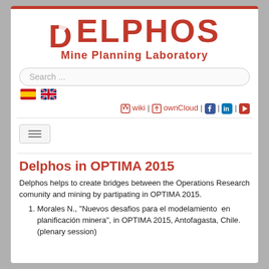[Figure (logo): DELPHOS Mine Planning Laboratory logo with red lettering and stylized D with white diagonal stripe]
Search ...
[Figure (infographic): Spanish and UK flag icons side by side for language selection]
wiki | ownCloud | [Facebook] | [LinkedIn] | [YouTube]
[Figure (infographic): Hamburger menu button with three horizontal lines]
Delphos in OPTIMA 2015
Delphos helps to create bridges between the Operations Research comunity and mining by partipating in OPTIMA 2015.
Morales N., "Nuevos desafios para el modelamiento  en planificación minera", in OPTIMA 2015, Antofagasta, Chile. (plenary session)